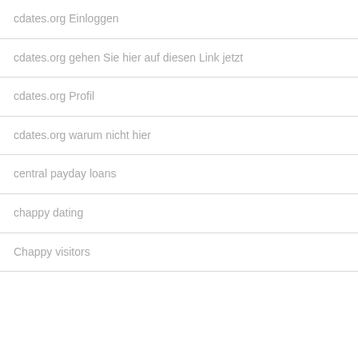cdates.org Einloggen
cdates.org gehen Sie hier auf diesen Link jetzt
cdates.org Profil
cdates.org warum nicht hier
central payday loans
chappy dating
Chappy visitors